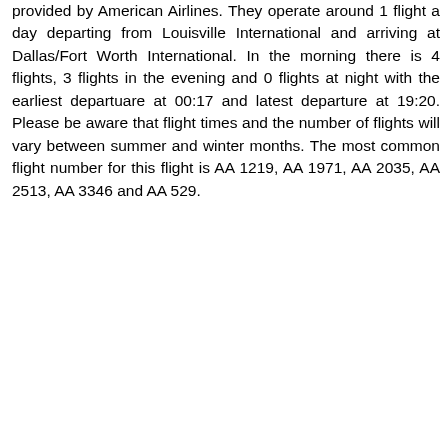provided by American Airlines. They operate around 1 flight a day departing from Louisville International and arriving at Dallas/Fort Worth International. In the morning there is 4 flights, 3 flights in the evening and 0 flights at night with the earliest departuare at 00:17 and latest departure at 19:20. Please be aware that flight times and the number of flights will vary between summer and winter months. The most common flight number for this flight is AA 1219, AA 1971, AA 2035, AA 2513, AA 3346 and AA 529.